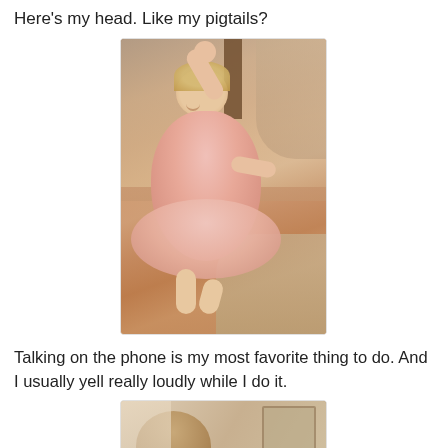Here's my head. Like my pigtails?
[Figure (photo): A young toddler girl in a pink dress with her arm raised up, sitting/posing in a living room with hardwood floors and a dark leather chair]
Talking on the phone is my most favorite thing to do. And I usually yell really loudly while I do it.
[Figure (photo): Partial view of a child, cropped at bottom of page, in a room setting]